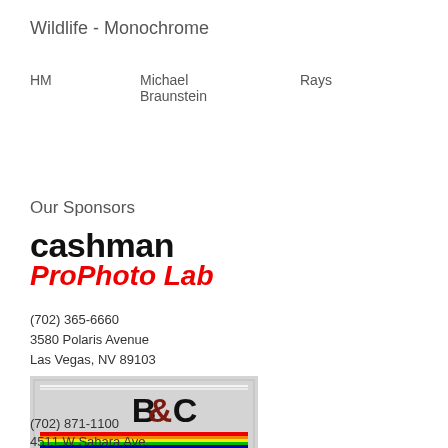Wildlife - Monochrome
| HM | Michael Braunstein | Rays |
Our Sponsors
[Figure (logo): Cashman ProPhoto Lab logo with black 'cashman' text and red italic 'ProPhoto Lab' text]
(702) 365-6660
3580 Polaris Avenue
Las Vegas, NV 89103
[Figure (logo): B&C Camera logo with grey background, colorful rainbow stripe, black bold B&C and CAMERA text]
(702) 871-1100
4511 W Sahara Ave.